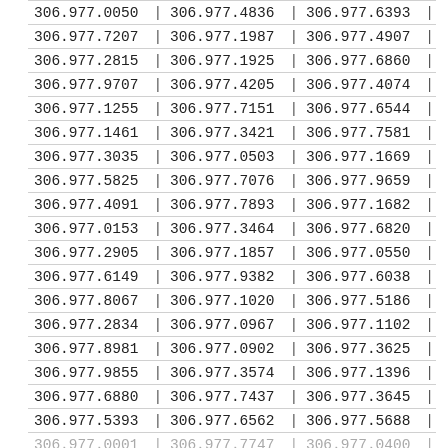| 306.977.0050 | | | 306.977.4836 | | | 306.977.6393 | | |
| 306.977.7207 | | | 306.977.1987 | | | 306.977.4907 | | |
| 306.977.2815 | | | 306.977.1925 | | | 306.977.6860 | | |
| 306.977.9707 | | | 306.977.4205 | | | 306.977.4074 | | |
| 306.977.1255 | | | 306.977.7151 | | | 306.977.6544 | | |
| 306.977.1461 | | | 306.977.3421 | | | 306.977.7581 | | |
| 306.977.3035 | | | 306.977.0503 | | | 306.977.1669 | | |
| 306.977.5825 | | | 306.977.7076 | | | 306.977.9659 | | |
| 306.977.4091 | | | 306.977.7893 | | | 306.977.1682 | | |
| 306.977.0153 | | | 306.977.3464 | | | 306.977.6820 | | |
| 306.977.2905 | | | 306.977.1857 | | | 306.977.0550 | | |
| 306.977.6149 | | | 306.977.9382 | | | 306.977.6038 | | |
| 306.977.8067 | | | 306.977.1020 | | | 306.977.5186 | | |
| 306.977.2834 | | | 306.977.0967 | | | 306.977.1102 | | |
| 306.977.8981 | | | 306.977.0902 | | | 306.977.3625 | | |
| 306.977.9855 | | | 306.977.3574 | | | 306.977.1396 | | |
| 306.977.6880 | | | 306.977.7437 | | | 306.977.3645 | | |
| 306.977.5393 | | | 306.977.6562 | | | 306.977.5688 | | |
| 306.977.???1 | | | 306.977.7747 | | | 306.977.0400 | | |